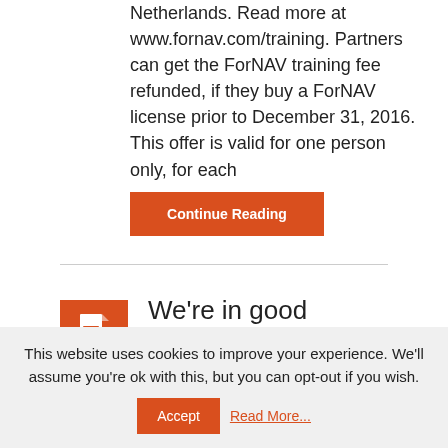Netherlands. Read more at www.fornav.com/training. Partners can get the ForNAV training fee refunded, if they buy a ForNAV license prior to December 31, 2016. This offer is valid for one person only, for each
Continue Reading
[Figure (illustration): Orange square icon with a white document/file icon]
We're in good company!
This website uses cookies to improve your experience. We'll assume you're ok with this, but you can opt-out if you wish.
Accept  Read More...